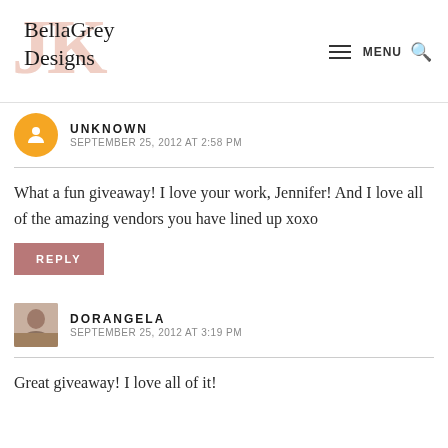[Figure (logo): BellaGrey Designs logo with stylized JK letters in pink and cursive text]
UNKNOWN   SEPTEMBER 25, 2012 AT 2:58 PM
What a fun giveaway! I love your work, Jennifer! And I love all of the amazing vendors you have lined up xoxo
REPLY
DORANGELA   SEPTEMBER 25, 2012 AT 3:19 PM
Great giveaway! I love all of it!